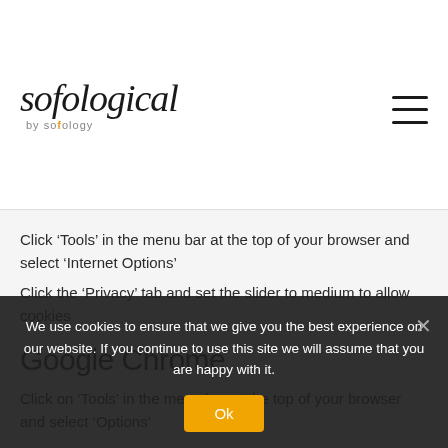sofological by sofology
Click ‘Tools’ in the menu bar at the top of your browser and select ‘Internet Options’
Click the ‘Privacy’ tab and set the slider to medium to allow cookies
Google Chrome
Click on ‘Tools’ in the menu bar at the top of your browser and select ‘Options’
We use cookies to ensure that we give you the best experience on our website. If you continue to use this site we will assume that you are happy with it.